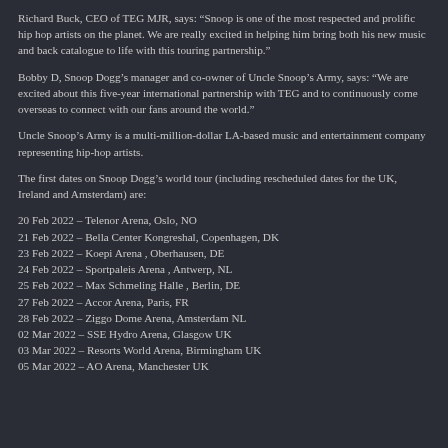Richard Buck, CEO of TEG MJR, says: “Snoop is one of the most respected and prolific hip hop artists on the planet. We are really excited in helping him bring both his new music and back catalogue to life with this touring partnership.”
Bobby D, Snoop Dogg’s manager and co-owner of Uncle Snoop’s Army, says: “We are excited about this five-year international partnership with TEG and to continuously come overseas to connect with our fans around the world.”
Uncle Snoop’s Army is a multi-million-dollar LA-based music and entertainment company representing hip-hop artists.
The first dates on Snoop Dogg’s world tour (including rescheduled dates for the UK, Ireland and Amsterdam) are:
20 Feb 2022 – Telenor Arena, Oslo, NO
21 Feb 2022 – Bella Center Kongreshal, Copenhagen, DK
23 Feb 2022 – Koepi Arena , Oberhausen, DE
24 Feb 2022 – Sportpaleis Arena , Antwerp, NL
25 Feb 2022 – Max Schmeling Halle , Berlin, DE
27 Feb 2022 – Accor Arena, Paris, FR
28 Feb 2022 – Ziggo Dome Arena, Amsterdam NL
02 Mar 2022 – SSE Hydro Arena, Glasgow UK
03 Mar 2022 – Resorts World Arena, Birmingham UK
05 Mar 2022 – AO Arena, Manchester UK